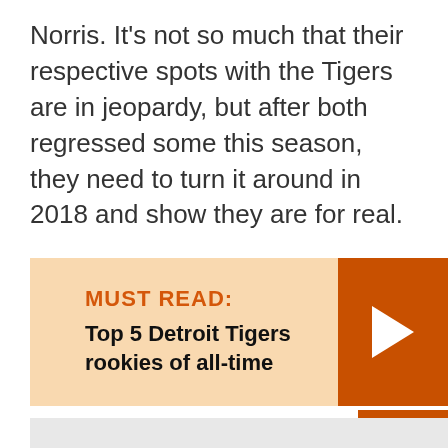Norris. It's not so much that their respective spots with the Tigers are in jeopardy, but after both regressed some this season, they need to turn it around in 2018 and show they are for real.
[Figure (infographic): Must Read callout box with orange background and dark orange arrow, containing label 'MUST READ:' and title 'Top 5 Detroit Tigers rookies of all-time']